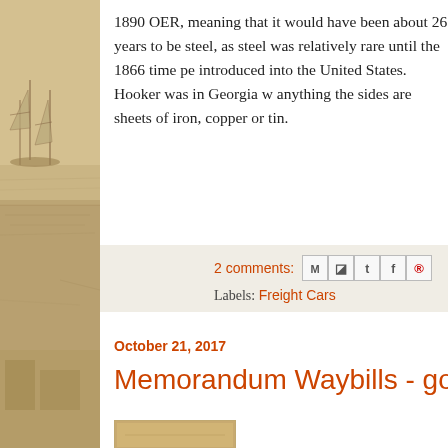[Figure (illustration): Vintage sketch/watercolor illustration of a harbor or coastal scene with ships and buildings, used as a decorative sidebar background]
1890 OER, meaning that it would have been about 26 years to be steel, as steel was relatively rare until the 1866 time pe introduced into the United States.  Hooker was in Georgia w anything the sides are sheets of iron, copper or tin.
2 comments:
Labels: Freight Cars
October 21, 2017
Memorandum Waybills - good bye tok
[Figure (photo): Small thumbnail image partially visible at the bottom of the page]